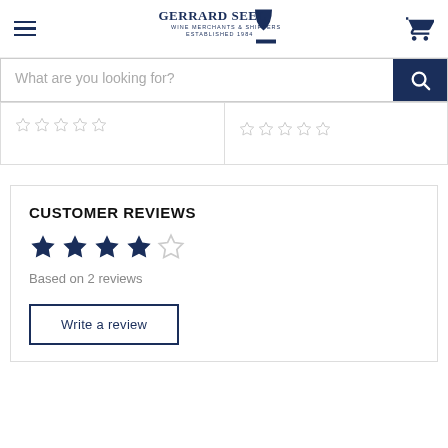Gerrard Seel Wine Merchants & Shippers Established 1984
What are you looking for?
CUSTOMER REVIEWS
Based on 2 reviews
Write a review